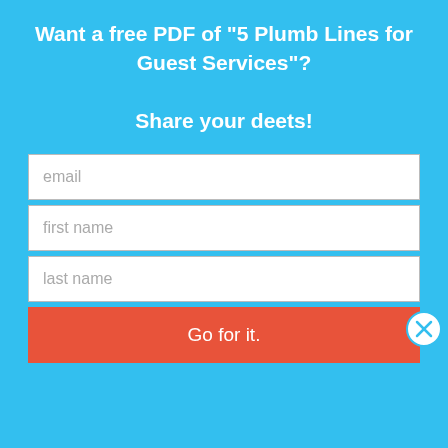Want a free PDF of "5 Plumb Lines for Guest Services"?
Share your deets!
[Figure (screenshot): Web form with three input fields (email, first name, last name) and a red submit button labeled 'Go for it.' on a blue background, with a close (X) button on the right side.]
an exhaustive list as much as it's a list from an exhausted brain.) How can we keep culture from leaking in our organizations?
Never stop repeating the vision. Never, as my pastor says, "When you're sick of saying it, your people are just beginning to hear it."
Don't settle. Don't allow second best. Don't accept "good enough." Look for ways to improve, and pursue it. Maybe